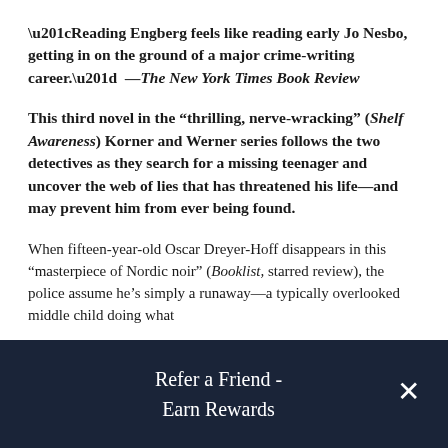“Reading Engberg feels like reading early Jo Nesbo, getting in on the ground of a major crime-writing career.” —The New York Times Book Review
This third novel in the “thrilling, nerve-wracking” (Shelf Awareness) Korner and Werner series follows the two detectives as they search for a missing teenager and uncover the web of lies that has threatened his life—and may prevent him from ever being found.
When fifteen-year-old Oscar Dreyer-Hoff disappears in this “masterpiece of Nordic noir” (Booklist, starred review), the police assume he’s simply a runaway—a typically overlooked middle child doing what
Refer a Friend - Earn Rewards